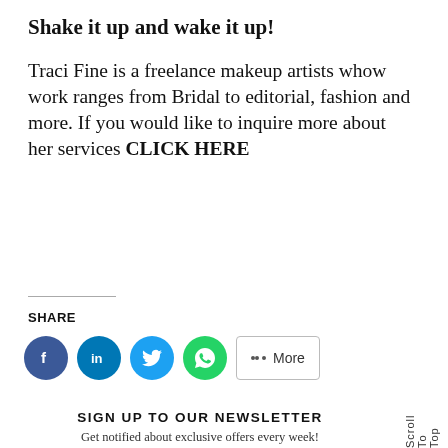Shake it up and wake it up!
Traci Fine is a freelance makeup artists whow work ranges from Bridal to editorial, fashion and more. If you would like to inquire more about her services CLICK HERE
SHARE
[Figure (infographic): Social share buttons: Facebook (dark blue circle), LinkedIn (blue circle), Twitter (light blue circle), WhatsApp (green circle), and a More button with share icon]
SIGN UP TO OUR NEWSLETTER
Get notified about exclusive offers every week!
YOUR E-MAIL
Scroll To Top